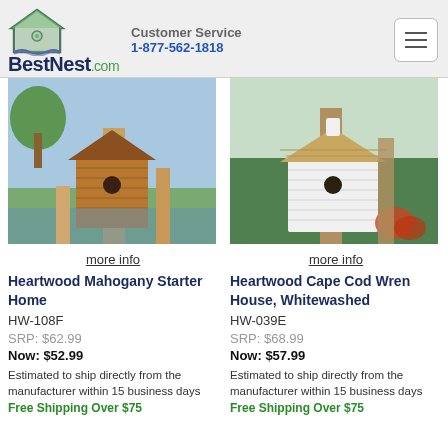Customer Service 1-877-562-1818 BestNest.com
[Figure (photo): Heartwood Mahogany Starter Home birdhouse mounted on a wooden post outdoors]
more info
Heartwood Mahogany Starter Home
HW-108F
SRP: $62.99
Now: $52.99
Estimated to ship directly from the manufacturer within 15 business days
Free Shipping Over $75
[Figure (photo): Heartwood Cape Cod Wren House Whitewashed birdhouse mounted on a wooden post outdoors]
more info
Heartwood Cape Cod Wren House, Whitewashed
HW-039E
SRP: $68.99
Now: $57.99
Estimated to ship directly from the manufacturer within 15 business days
Free Shipping Over $75